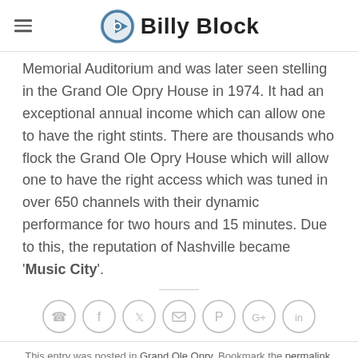Billy Block
Memorial Auditorium and was later seen stelling in the Grand Ole Opry House in 1974. It had an exceptional annual income which can allow one to have the right stints. There are thousands who flock the Grand Ole Opry House which will allow one to have the right access which was tuned in over 650 channels with their dynamic performance for two hours and 15 minutes. Due to this, the reputation of Nashville became 'Music City'.
[Figure (other): Social sharing icons in circles: phone, facebook, twitter, email, pinterest, google+, linkedin]
This entry was posted in Grand Ole Opry. Bookmark the permalink.